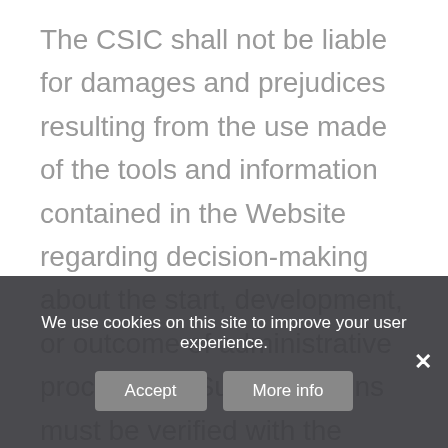The CSIC shall not be liable for damages and prejudices resulting from the use made of the tools and information contained in the Website regarding decision-making about the start, development, or outcome of administrative procedures. Such decisions must be verified with the centres, organisms or competent agencies. In any case, the information and contents of this website may not be employed to be proclaimed under the Public Administration charter assume no liability for a
We use cookies on this site to improve your user experience.